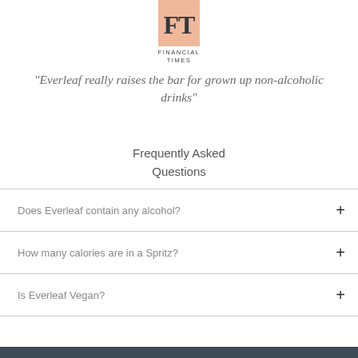[Figure (logo): Financial Times FT logo — salmon/peach colored square with bold FT letters in dark serif font, with 'FINANCIAL TIMES' text below in small caps]
"Everleaf really raises the bar for grown up non-alcoholic drinks"
Frequently Asked Questions
Does Everleaf contain any alcohol?
How many calories are in a Spritz?
Is Everleaf Vegan?